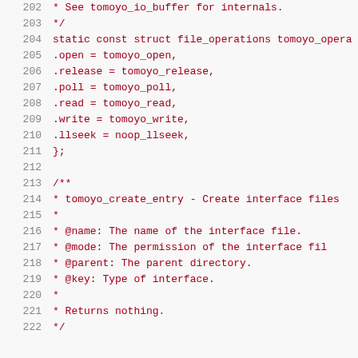[Figure (screenshot): Source code listing showing lines 202-222 of a C file. Lines feature a struct file_operations definition with .open, .release, .poll, .read, .write, .llseek fields, followed by a Kernel-doc comment block for tomoyo_create_entry function. Line numbers in grey, code in dark red monospace font on light grey background.]